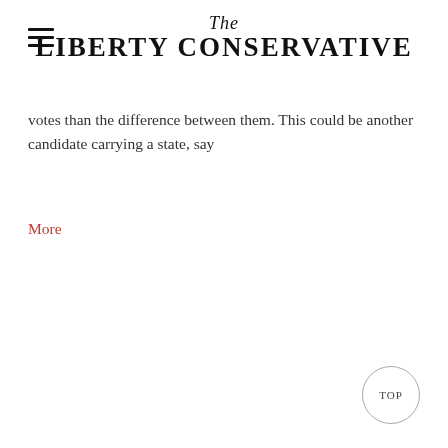The LIBERTY CONSERVATIVE
votes than the difference between them. This could be another candidate carrying a state, say
More